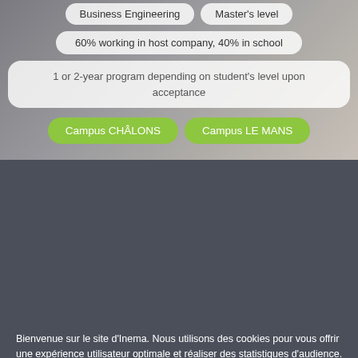[Figure (screenshot): Top section of a school/institution website (Inema) showing program info pills on a blurred photo background with campus buttons]
Business Engineering   Master's level
60% working in host company, 40% in school
1 or 2-year program depending on student's level upon acceptance
Campus CHÂLONS   Campus LE MANS
Bienvenue sur le site d'Inema. Nous utilisons des cookies pour vous offrir une expérience utilisateur optimale et réaliser des statistiques d'audience. Cliquez sur le bouton « Autoriser les cookies » pour nous donner votre consentement à ces opérations et profiter d'une expérience personnalisée. Cliquez sur « Continuer sans accepter » pour les refuser ou modifiez vos préférences en cliquant sur « Paramètres des cookies ».
Accepter tous les cookies
Continuer sans accepter
Personnaliser